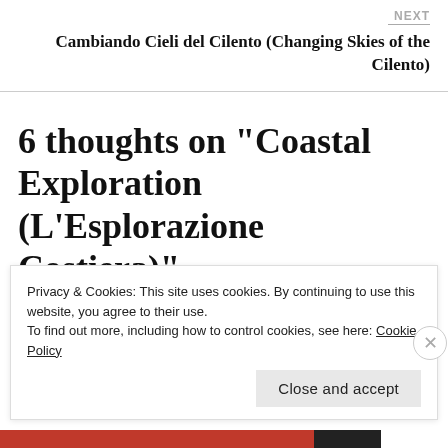NEXT
Cambiando Cieli del Cilento (Changing Skies of the Cilento)
6 thoughts on “Coastal Exploration (L’Esplorazione Costiera)”
Privacy & Cookies: This site uses cookies. By continuing to use this website, you agree to their use.
To find out more, including how to control cookies, see here: Cookie Policy
Close and accept